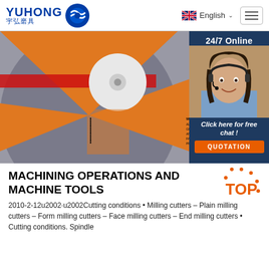YUHONG 宇弘磨具 | English
[Figure (photo): Close-up of a grinding/cutting disc with orange and grey sections, warning text visible. Sidebar shows a female customer service representative with headset and text '24/7 Online', 'Click here for free chat!', and 'QUOTATION' button.]
MACHINING OPERATIONS AND MACHINE TOOLS
2010-2-12u2002·u2002Cutting conditions • Milling cutters – Plain milling cutters – Form milling cutters – Face milling cutters – End milling cutters • Cutting conditions. Spindle